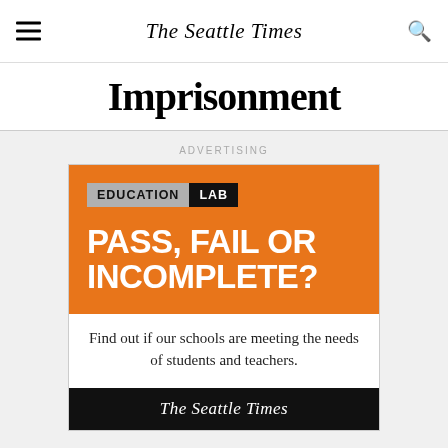The Seattle Times
Imprisonment
ADVERTISING
[Figure (infographic): Education Lab advertisement banner. Orange background with 'EDUCATION LAB' logo badge, headline 'PASS, FAIL OR INCOMPLETE?', subtext 'Find out if our schools are meeting the needs of students and teachers.', and The Seattle Times logo on black footer.]